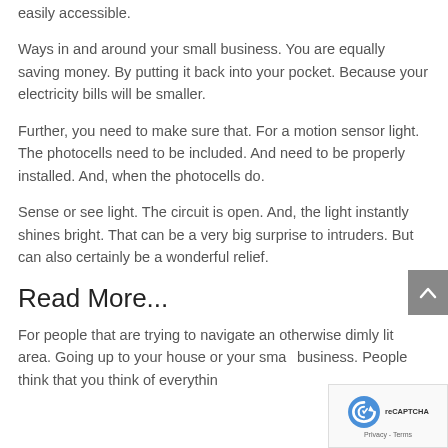easily accessible.
Ways in and around your small business. You are equally saving money. By putting it back into your pocket. Because your electricity bills will be smaller.
Further, you need to make sure that. For a motion sensor light. The photocells need to be included. And need to be properly installed. And, when the photocells do.
Sense or see light. The circuit is open. And, the light instantly shines bright. That can be a very big surprise to intruders. But can also certainly be a wonderful relief.
Read More...
For people that are trying to navigate an otherwise dimly lit area. Going up to your house or your small business. People think that you think of everything